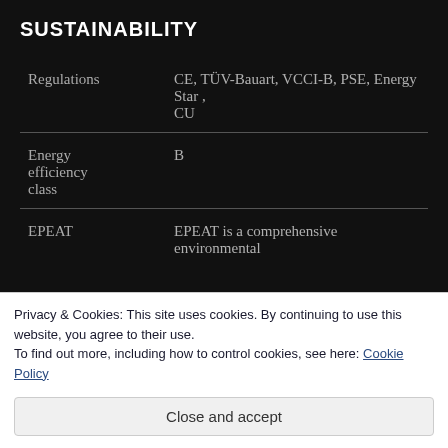SUSTAINABILITY
|  |  |
| --- | --- |
| Regulations | CE, TÜV-Bauart, VCCI-B, PSE, Energy Star , CU |
| Energy efficiency class | B |
| EPEAT | EPEAT is a comprehensive environmental |
Privacy & Cookies: This site uses cookies. By continuing to use this website, you agree to their use.
To find out more, including how to control cookies, see here: Cookie Policy
Close and accept